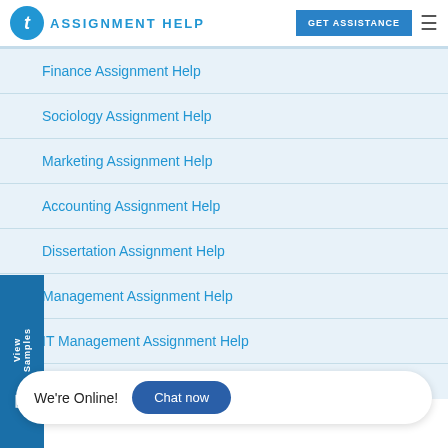TAssignmentHelp — GET ASSISTANCE
Finance Assignment Help
Sociology Assignment Help
Marketing Assignment Help
Accounting Assignment Help
Dissertation Assignment Help
Management Assignment Help
IT Management Assignment Help
Marketing Analysis Assignment Help
We're Online!
Chat now